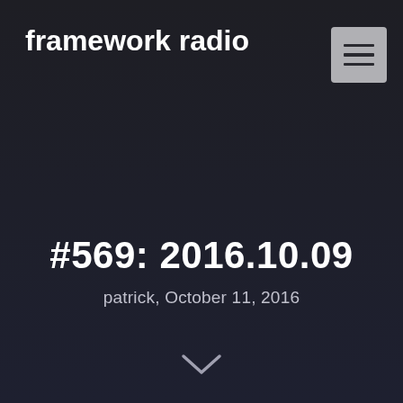framework radio
#569: 2016.10.09
patrick, October 11, 2016